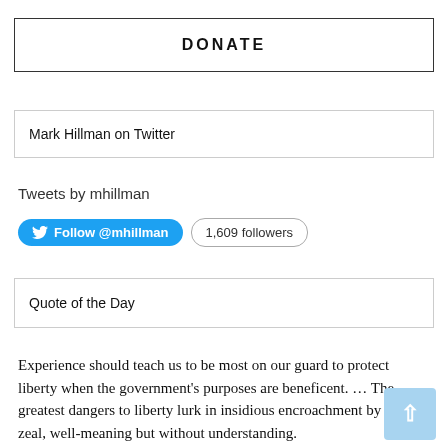DONATE
Mark Hillman on Twitter
Tweets by mhillman
Follow @mhillman   1,609 followers
Quote of the Day
Experience should teach us to be most on our guard to protect liberty when the government’s purposes are beneficent. … The greatest dangers to liberty lurk in insidious encroachment by men of zeal, well-meaning but without understanding.